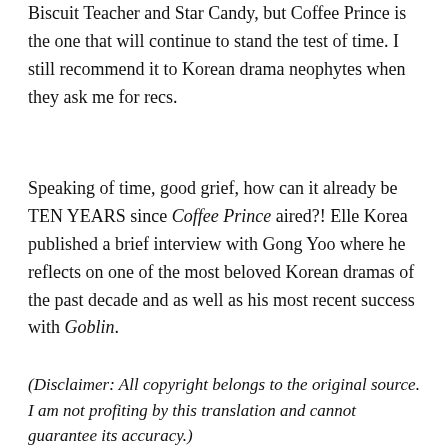Biscuit Teacher and Star Candy, but Coffee Prince is the one that will continue to stand the test of time. I still recommend it to Korean drama neophytes when they ask me for recs.
Speaking of time, good grief, how can it already be TEN YEARS since Coffee Prince aired?! Elle Korea published a brief interview with Gong Yoo where he reflects on one of the most beloved Korean dramas of the past decade and as well as his most recent success with Goblin.
(Disclaimer: All copyright belongs to the original source. I am not profiting by this translation and cannot guarantee its accuracy.)
[Figure (photo): Close-up photo of a person's hair from above, showing dark and light brown/golden hair with backlit sunlight creating wispy highlights against a light blue sky background.]